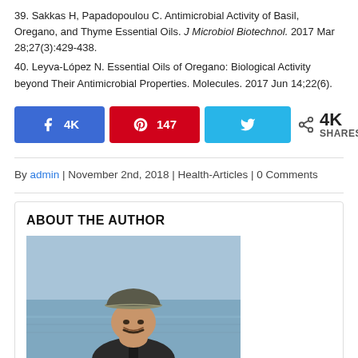39. Sakkas H, Papadopoulou C. Antimicrobial Activity of Basil, Oregano, and Thyme Essential Oils. J Microbiol Biotechnol. 2017 Mar 28;27(3):429-438.
40. Leyva-López N. Essential Oils of Oregano: Biological Activity beyond Their Antimicrobial Properties. Molecules. 2017 Jun 14;22(6).
[Figure (infographic): Social share buttons: Facebook 4K, Pinterest 147, Twitter (no count), and a share icon showing 4K SHARES]
By admin | November 2nd, 2018 | Health-Articles | 0 Comments
ABOUT THE AUTHOR
[Figure (photo): Photo of a man wearing a cap and jacket, smiling, with water/ocean in the background]